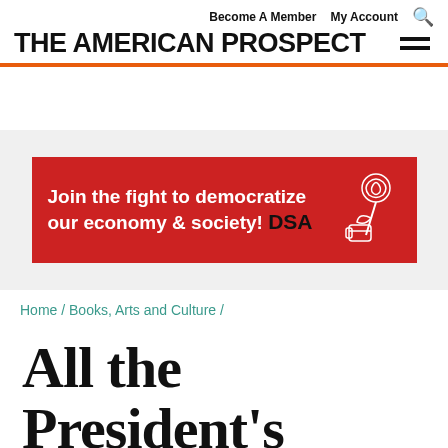Become A Member  My Account
THE AMERICAN PROSPECT
[Figure (infographic): DSA advertisement banner: 'Join the fight to democratize our economy & society! DSA' on red background with rose/fist graphic]
Home / Books, Arts and Culture /
All the President's Handouts